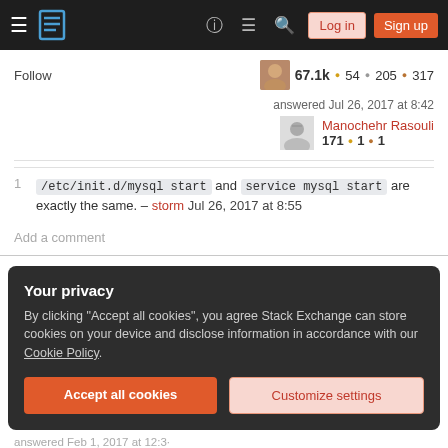Stack Exchange navigation bar with hamburger menu, logo, help, chat, search icons, Log in and Sign up buttons
Follow  67.1k  54  205  317
answered Jul 26, 2017 at 8:42
Manochehr Rasouli  171  1  1
1  /etc/init.d/mysql start and service mysql start are exactly the same. – storm Jul 26, 2017 at 8:55
Add a comment
Your privacy
By clicking "Accept all cookies", you agree Stack Exchange can store cookies on your device and disclose information in accordance with our Cookie Policy.
Accept all cookies
Customize settings